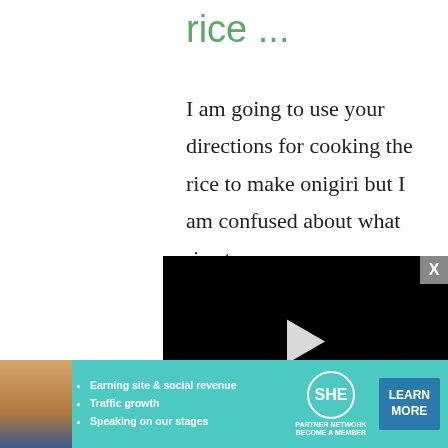rice ...
I am going to use your directions for cooking the rice to make onigiri but I am confused about what rice to use.
[Figure (screenshot): Embedded video player with black background, play button in center, progress bar, and controls showing 13:52 timestamp, CC, grid, settings, and fullscreen icons.]
Sushi Rice Japanese
[Figure (infographic): Advertisement banner for SHE Partner Network featuring a woman's photo, bullet points about earning site & social revenue, traffic growth, speaking on our stages, the SHE logo, and a LEARN MORE button.]